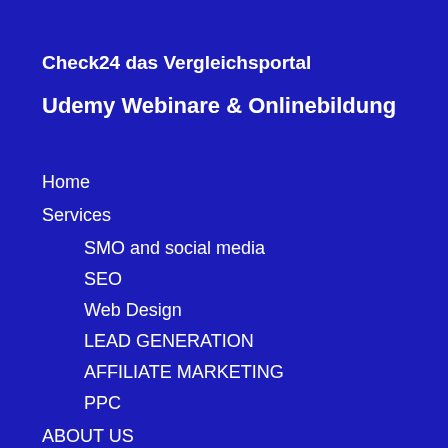Check24 das Vergleichsportal
Udemy Webinare & Onlinebildung
Home
Services
SMO and social media
SEO
Web Design
LEAD GENERATION
AFFILIATE MARKETING
PPC
ABOUT US
CONTACT
TERMS